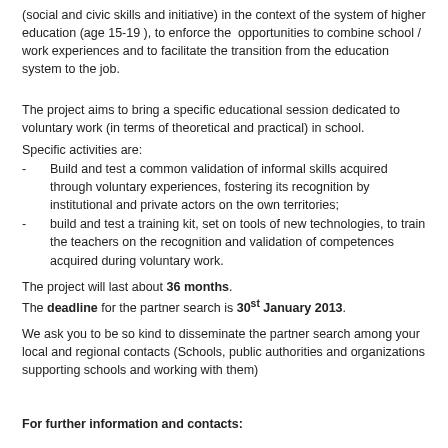(social and civic skills and initiative) in the context of the system of higher education (age 15-19 ), to enforce the  opportunities to combine school / work experiences and to facilitate the transition from the education system to the job.
The project aims to bring a specific educational session dedicated to voluntary work (in terms of theoretical and practical) in school.
Specific activities are:
Build and test a common validation of informal skills acquired through voluntary experiences, fostering its recognition by institutional and private actors on the own territories;
build and test a training kit, set on tools of new technologies, to train the teachers on the recognition and validation of competences acquired during voluntary work.
The project will last about 36 months.
The deadline for the partner search is 30st January 2013.
We ask you to be so kind to disseminate the partner search among your local and regional contacts (Schools, public authorities and organizations supporting schools and working with them)
For further information and contacts: